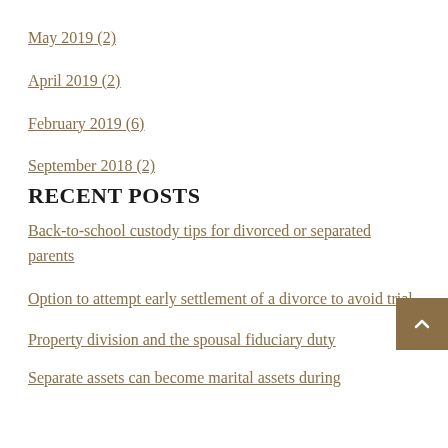May 2019 (2)
April 2019 (2)
February 2019 (6)
September 2018 (2)
RECENT POSTS
Back-to-school custody tips for divorced or separated parents
Option to attempt early settlement of a divorce to avoid trial
Property division and the spousal fiduciary duty
Separate assets can become marital assets during